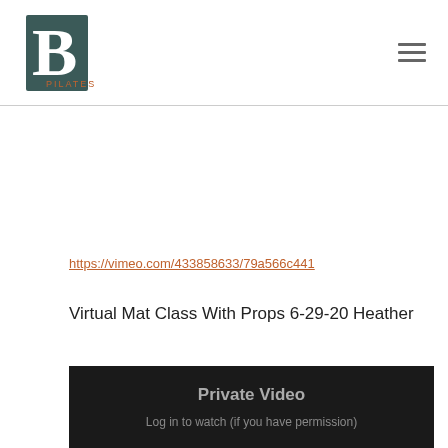BB Pilates logo and navigation menu
https://vimeo.com/433858633/79a566c441
Virtual Mat Class With Props 6-29-20 Heather
[Figure (screenshot): Dark video embed placeholder showing 'Private Video' and 'Log in to watch (if you have permission)']